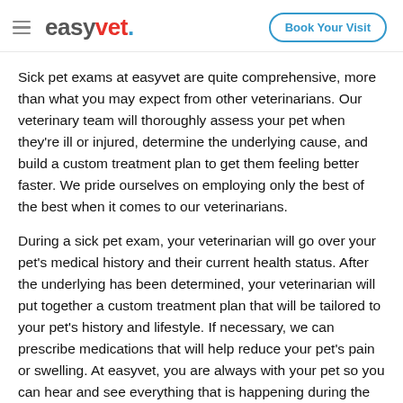easyvet. | Book Your Visit
Sick pet exams at easyvet are quite comprehensive, more than what you may expect from other veterinarians. Our veterinary team will thoroughly assess your pet when they're ill or injured, determine the underlying cause, and build a custom treatment plan to get them feeling better faster. We pride ourselves on employing only the best of the best when it comes to our veterinarians.
During a sick pet exam, your veterinarian will go over your pet's medical history and their current health status. After the underlying has been determined, your veterinarian will put together a custom treatment plan that will be tailored to your pet's history and lifestyle. If necessary, we can prescribe medications that will help reduce your pet's pain or swelling. At easyvet, you are always with your pet so you can hear and see everything that is happening during the exam. As always, any course of treatment will be discussed in full with you before